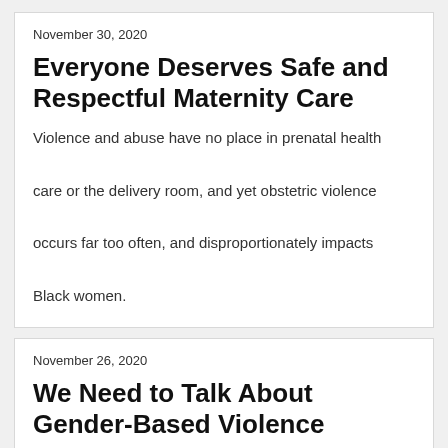November 30, 2020
Everyone Deserves Safe and Respectful Maternity Care
Violence and abuse have no place in prenatal health care or the delivery room, and yet obstetric violence occurs far too often, and disproportionately impacts Black women.
November 26, 2020
We Need to Talk About Gender-Based Violence
Gender-based violence is a leading public health